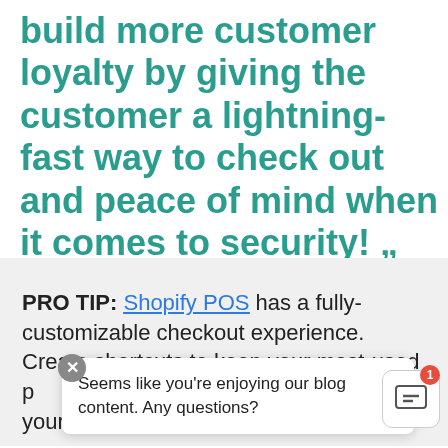build more customer loyalty by giving the customer a lightning-fast way to check out and peace of mind when it comes to security! „
—Waqas Ahmed, Marketer, Shopify
PRO TIP: Shopify POS has a fully-customizable checkout experience. Create shortcuts to keep your most-used [products] and your fin[gertips at] checkout.
Seems like you're enjoying our blog content. Any questions?